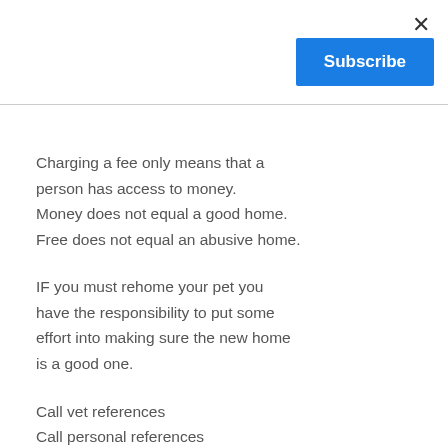×
Subscribe
Charging a fee only means that a person has access to money. Money does not equal a good home. Free does not equal an abusive home.
IF you must rehome your pet you have the responsibility to put some effort into making sure the new home is a good one.
Call vet references
Call personal references